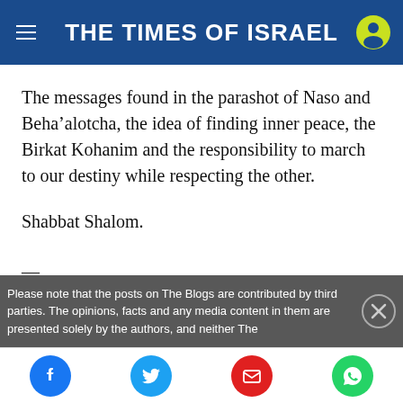THE TIMES OF ISRAEL
The messages found in the parashot of Naso and Beha’alotcha, the idea of finding inner peace, the Birkat Kohanim and the responsibility to march to our destiny while respecting the other.
Shabbat Shalom.
—
Please note that the posts on The Blogs are contributed by third parties. The opinions, facts and any media content in them are presented solely by the authors, and neither The